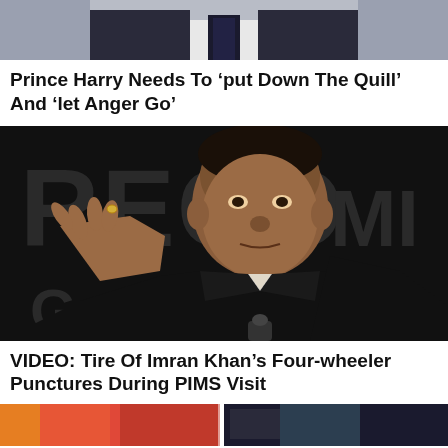[Figure (photo): Partial photo of a man in a suit with a dark tie, cropped at torso/neck level, grey background]
Prince Harry Needs To ‘put Down The Quill’ And ‘let Anger Go’
[Figure (photo): Photo of Imran Khan speaking at a podium, wearing a black vest, gesturing with his right hand, in front of a dark background with white text]
VIDEO: Tire Of Imran Khan’s Four-wheeler Punctures During PIMS Visit
[Figure (photo): Bottom strip showing two partial images side by side: left appears to be orange/red tones, right appears dark/black tones]